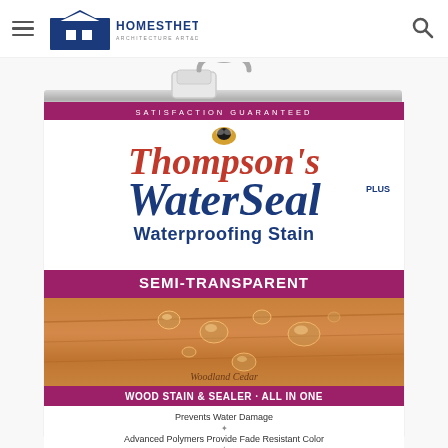Homesthetics - Architecture Art & Design
[Figure (photo): Thompson's WaterSeal Waterproofing Stain can - Semi-Transparent, Woodland Cedar variety. White can with maroon/purple label bands. Shows 'SATISFACTION GUARANTEED' at top, Thompson's WaterSeal logo, 'Waterproofing Stain' subtitle, SEMI-TRANSPARENT label band, cedar wood planks with water beads, 'WOOD STAIN & SEALER - ALL IN ONE' band, bullet points listing benefits, and color selector strip at bottom showing Clear, Transparent, Semi, Solid options with Semi-Transparent highlighted.]